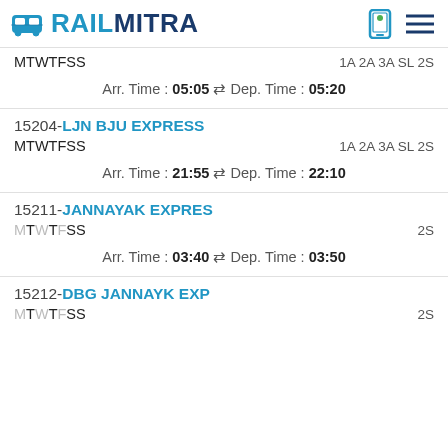RAILMITRA
MTWTFSS   1A 2A 3A SL 2S
Arr. Time : 05:05 ⇌ Dep. Time : 05:20
15204-LJN BJU EXPRESS
MTWTFSS   1A 2A 3A SL 2S
Arr. Time : 21:55 ⇌ Dep. Time : 22:10
15211-JANNAYAK EXPRES
MTWTFSS   2S
Arr. Time : 03:40 ⇌ Dep. Time : 03:50
15212-DBG JANNAYK EXP
MTWTFSS   2S